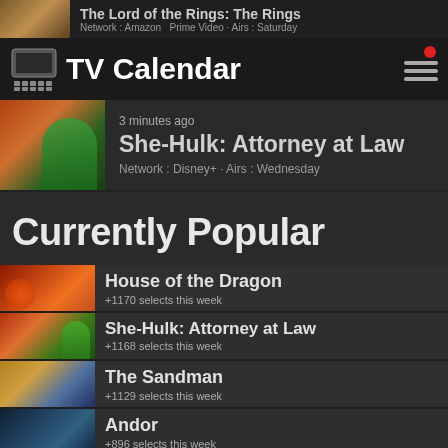TV Calendar
The Lord of the Rings: The Rings — Network: Amazon Prime Video · Airs: Saturday
She-Hulk: Attorney at Law — Network: Disney+ · Airs: Wednesday — 3 minutes ago
Currently Popular
House of the Dragon — +1170 selects this week
She-Hulk: Attorney at Law — +1168 selects this week
The Sandman — +1129 selects this week
Andor — +896 selects this week